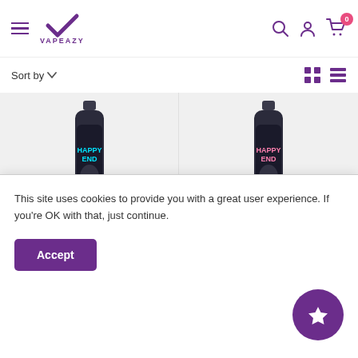[Figure (logo): Vapeazy logo with purple checkmark and brand name]
Sort by
[Figure (photo): Sad Boy Happy End blue cotton candy vape bottle]
SAD BOY
Sad Boy - Happy End -
£3.33 with LAYBUY
[Figure (photo): Sad Boy Happy End pink cotton candy vape bottle]
SAD BOY
Sad Boy - Happy End -
£3.33 with LAYBUY
This site uses cookies to provide you with a great user experience. If you're OK with that, just continue.
Accept